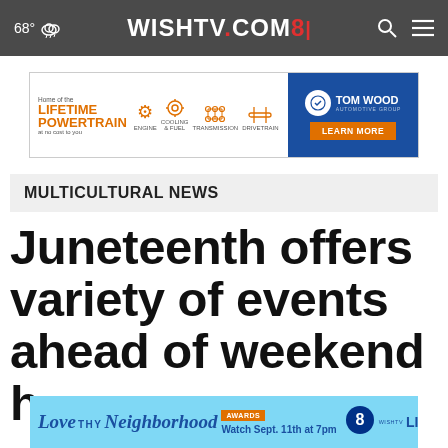68° [cloud icon] WISHTV.COM8 [search icon] [menu icon]
[Figure (screenshot): Tom Wood Automotive Group advertisement banner featuring Lifetime Powertrain at no cost, engine, cooling & fuel, transmission, drivetrain icons, and a Learn More button on blue background]
MULTICULTURAL NEWS
Juneteenth offers variety of events ahead of weekend h[cut off]
[Figure (screenshot): Love Thy Neighborhood Awards bottom advertisement banner - Watch Sept. 11th at 7pm, LISC Indianapolis logo]